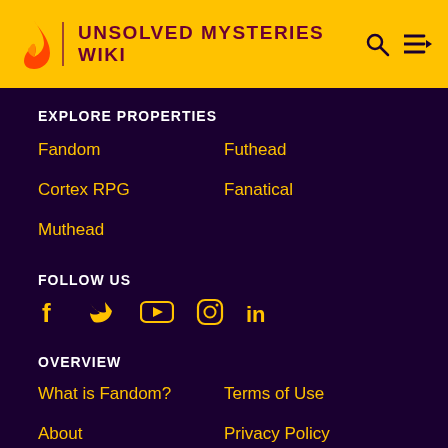UNSOLVED MYSTERIES WIKI
EXPLORE PROPERTIES
Fandom
Futhead
Cortex RPG
Fanatical
Muthead
FOLLOW US
[Figure (infographic): Social media icons: Facebook, Twitter, YouTube, Instagram, LinkedIn]
OVERVIEW
What is Fandom?
Terms of Use
About
Privacy Policy